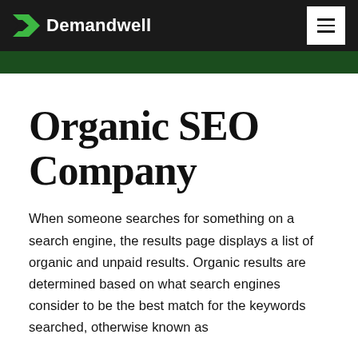Demandwell
Organic SEO Company
When someone searches for something on a search engine, the results page displays a list of organic and unpaid results. Organic results are determined based on what search engines consider to be the best match for the keywords searched, otherwise known as